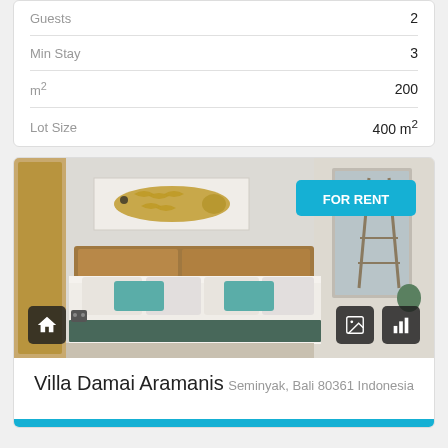| Property | Value |
| --- | --- |
| Guests | 2 |
| Min Stay | 3 |
| m² | 200 |
| Lot Size | 400 m² |
[Figure (photo): Bedroom interior of Villa Damai Aramanis showing a double bed with teal pillows, wooden headboard, fish artwork on wall, and mirror. FOR RENT badge visible in top-right.]
Villa Damai Aramanis
Seminyak, Bali 80361 Indonesia